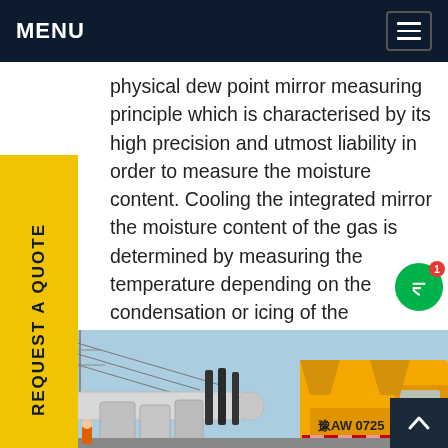MENU
physical dew point mirror measuring principle which is characterised by its high precision and utmost liability in order to measure the moisture content. Cooling the integrated mirror the moisture content of the gas is determined by measuring the temperature depending on the condensation or icing of the mirror.Get price
[Figure (photo): Side tab button reading REQUEST A QUOTE in vertical yellow text on dark navy background]
[Figure (photo): Industrial electrical substation yard with high-voltage equipment, pipes, cables and a yellow utility truck with markings 豫AW 0725]